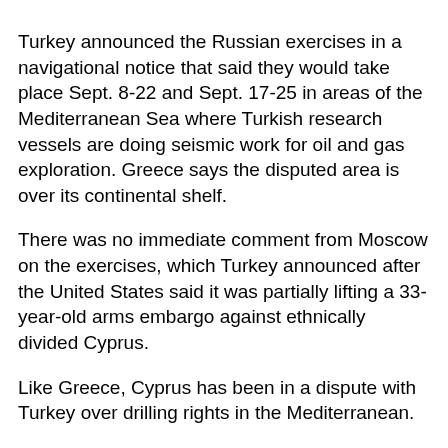Turkey announced the Russian exercises in a navigational notice that said they would take place Sept. 8-22 and Sept. 17-25 in areas of the Mediterranean Sea where Turkish research vessels are doing seismic work for oil and gas exploration. Greece says the disputed area is over its continental shelf.
There was no immediate comment from Moscow on the exercises, which Turkey announced after the United States said it was partially lifting a 33-year-old arms embargo against ethnically divided Cyprus.
Like Greece, Cyprus has been in a dispute with Turkey over drilling rights in the Mediterranean.
In Athens, Greek government spokesman Stelios Petsas said the planned Russian exercises were being ``monitored by all the countries in the region, as well as our NATO allies and European Union partners."
It's unclear why NATO-member Turkey announced such drills on Russia's behalf, but the two countries have in